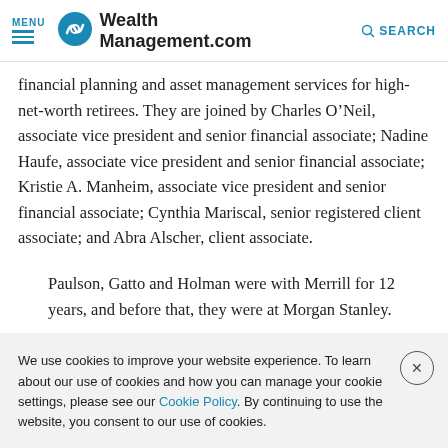MENU | WealthManagement.com | SEARCH
financial planning and asset management services for high-net-worth retirees. They are joined by Charles O’Neil, associate vice president and senior financial associate; Nadine Haufe, associate vice president and senior financial associate; Kristie A. Manheim, associate vice president and senior financial associate; Cynthia Mariscal, senior registered client associate; and Abra Alscher, client associate.
Paulson, Gatto and Holman were with Merrill for 12 years, and before that, they were at Morgan Stanley.
We use cookies to improve your website experience. To learn about our use of cookies and how you can manage your cookie settings, please see our Cookie Policy. By continuing to use the website, you consent to our use of cookies.